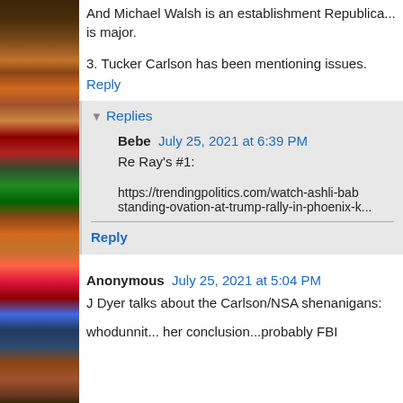And Michael Walsh is an establishment Republican... is major.
3. Tucker Carlson has been mentioning issues.
Reply
Replies
Bebe  July 25, 2021 at 6:39 PM
Re Ray's #1:
https://trendingpolitics.com/watch-ashli-babb... standing-ovation-at-trump-rally-in-phoenix-k...
Reply
Anonymous  July 25, 2021 at 5:04 PM
J Dyer talks about the Carlson/NSA shenanigans:
whodunnit... her conclusion...probably FBI